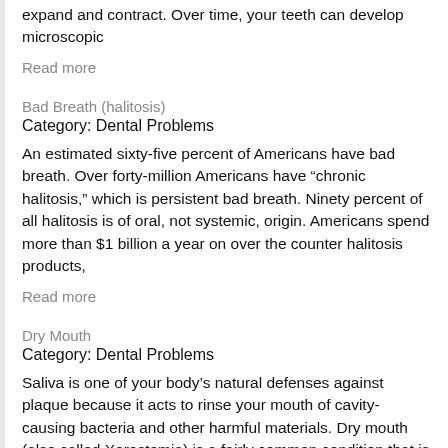expand and contract. Over time, your teeth can develop microscopic
Read more
Bad Breath (halitosis)
Category: Dental Problems
An estimated sixty-five percent of Americans have bad breath. Over forty-million Americans have "chronic halitosis," which is persistent bad breath. Ninety percent of all halitosis is of oral, not systemic, origin. Americans spend more than $1 billion a year on over the counter halitosis products,
Read more
Dry Mouth
Category: Dental Problems
Saliva is one of your body’s natural defenses against plaque because it acts to rinse your mouth of cavity-causing bacteria and other harmful materials. Dry mouth (also called Xerostomia) is a fairly common condition that is caused by diminished saliva production. People with medical conditions, such